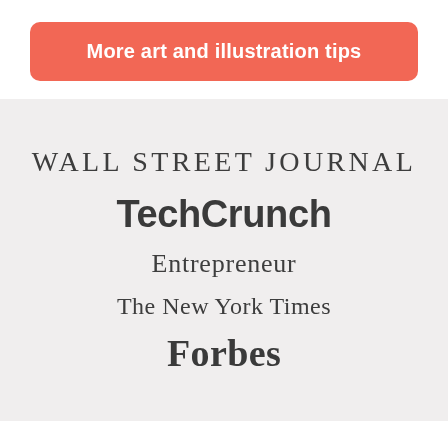[Figure (other): Coral/salmon rounded rectangle button with white bold text reading 'More art and illustration tips']
[Figure (logo): Five publication logos on a light gray background: Wall Street Journal (serif uppercase), TechCrunch (bold sans-serif), Entrepreneur (serif), The New York Times (blackletter serif), Forbes (bold serif)]